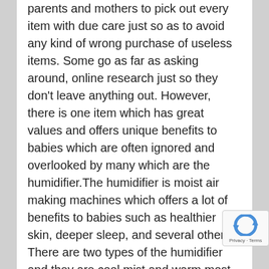parents and mothers to pick out every item with due care just so as to avoid any kind of wrong purchase of useless items. Some go as far as asking around, online research just so they don't leave anything out. However, there is one item which has great values and offers unique benefits to babies which are often ignored and overlooked by many which are the humidifier.The humidifier is moist air making machines which offers a lot of benefits to babies such as healthier skin, deeper sleep, and several others. There are two types of the humidifier and they are cool mist and warm most. These two types of humidifier will add moisture to the air in the room where the baby lies with the difference being that cool mist generates cool air while warm mist realizes cool